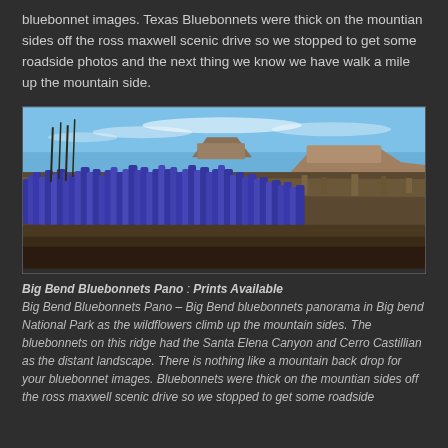bluebonnet images. Texas Bluebonnets were thick on the mountian sides off the ross maxwell scenic drive so we stopped to get some roadside photos and the next thing we know we have walk a mile up the mountain side.
[Figure (photo): Panoramic landscape photo of Big Bend Bluebonnets with purple/blue wildflowers in foreground, rocky mesa and mountains in background under blue sky with wispy clouds.]
Big Bend Bluebonnets Pano : Prints Available
Big Bend Bluebonnets Pano – Big Bend bluebonnets panorama in Big bend National Park as the wildflowers climb up the mountain sides. The bluebonnets on this ridge had the Santa Elena Canyon and Cerro Castillian as the distant landscape. There is nothing like a mountain back drop for your bluebonnet images. Bluebonnets were thick on the mountian sides off the ross maxwell scenic drive so we stopped to get some roadside